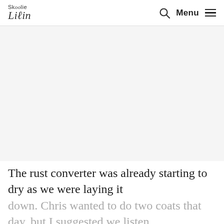Skoolie Livin — Menu
[Figure (photo): Large image area, appearing blank or white/light gray, taking up the upper-middle portion of the page below the navigation header.]
The rust converter was already starting to dry as we were laying it down. Chris wanted to do two coats that day, but I suggested we listen